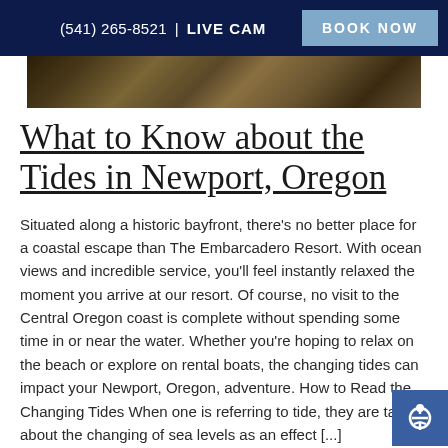(541) 265-8521 | LIVE CAM  BOOK NOW
[Figure (photo): Coastal tidepools with mussels, seaweed, and rocks at The Embarcadero Resort]
What to Know about the Tides in Newport, Oregon
Situated along a historic bayfront, there’s no better place for a coastal escape than The Embarcadero Resort. With ocean views and incredible service, you’ll feel instantly relaxed the moment you arrive at our resort. Of course, no visit to the Central Oregon coast is complete without spending some time in or near the water. Whether you’re hoping to relax on the beach or explore on rental boats, the changing tides can impact your Newport, Oregon, adventure. How to Read the Changing Tides When one is referring to tide, they are talking about the changing of sea levels as an effect [...]